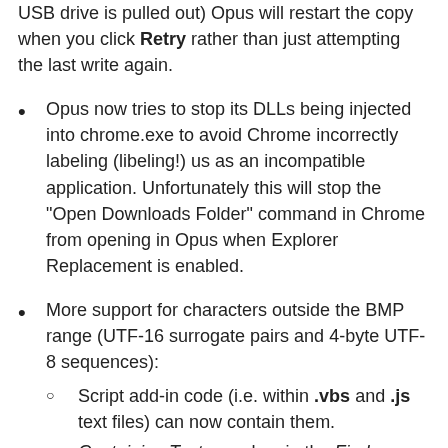USB drive is pulled out) Opus will restart the copy when you click Retry rather than just attempting the last write again.
Opus now tries to stop its DLLs being injected into chrome.exe to avoid Chrome incorrectly labeling (libeling!) us as an incompatible application. Unfortunately this will stop the "Open Downloads Folder" command in Chrome from opening in Opus when Explorer Replacement is enabled.
More support for characters outside the BMP range (UTF-16 surrogate pairs and 4-byte UTF-8 sequences):
Script add-in code (i.e. within .vbs and .js text files) can now contain them.
Containing Text searches in the Find